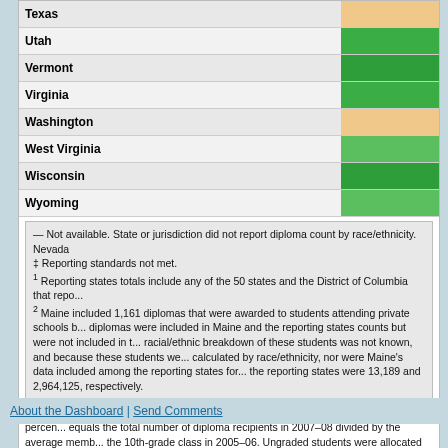| State | AFGR (%) |
| --- | --- |
| Texas |  |
| Utah | 7x |
| Vermont | 8x |
| Virginia | 7x |
| Washington | 7x |
| West Virginia | 7x |
| Wisconsin | 8x |
| Wyoming | 7x |
— Not available. State or jurisdiction did not report diploma count by race/ethnicity. Nevada
‡ Reporting standards not met.
1 Reporting states totals include any of the 50 states and the District of Columbia that repo...
2 Maine included 1,161 diplomas that were awarded to students attending private schools b... diplomas were included in Maine and the reporting states counts but were not included in t... racial/ethnic breakdown of these students was not known, and because these students we... calculated by race/ethnicity, nor were Maine's data included among the reporting states for... the reporting states were 13,189 and 2,964,125, respectively.
NOTE: The Averaged Freshman Graduation Rate (AFGR) is an estimate of the percen... equals the total number of diploma recipients in 2007–08 divided by the average memb... the 10th-grade class in 2005–06. Ungraded students were allocated to individual grade...
SOURCE: U.S. Department of Education, National Center for Education Statistics, Pub... Year 2007–08 (NCES 2010-341), tables 2 and 3. Data from "NCES Common Core of D... 1a.
About the Dashboard | Send Comments